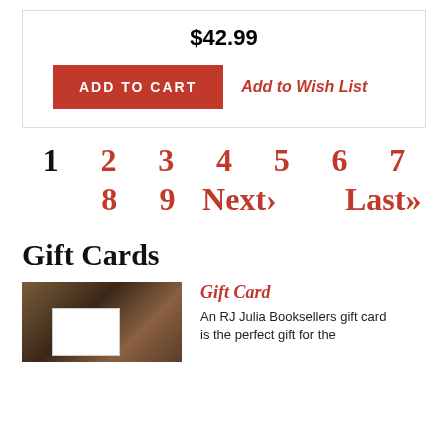$42.99
ADD TO CART
Add to Wish List
1  2  3  4  5  6  7  8  9  Next›  Last»
Gift Cards
Gift Card
An RJ Julia Booksellers gift card is the perfect gift for the